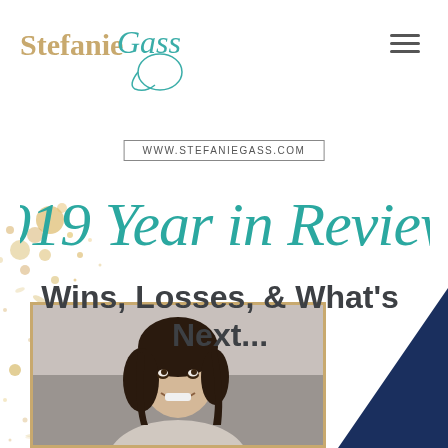[Figure (logo): Stefanie Gass logo with teal script and gold serif text, with decorative swirl]
[Figure (other): Hamburger menu icon (three horizontal lines) in top right corner]
WWW.STEFANIEGASS.COM
2019 Year in Review!
Wins, Losses, & What's Next...
[Figure (photo): Woman with dark hair smiling and looking upward, photo in gold-bordered frame, gold glitter splatter effects in background, navy triangle in bottom-right corner]